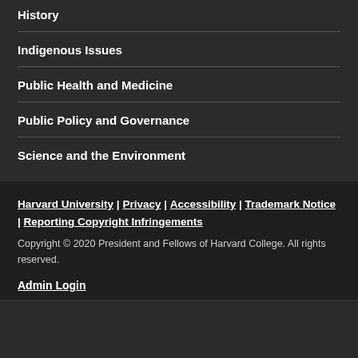History
Indigenous Issues
Public Health and Medicine
Public Policy and Governance
Science and the Environment
Harvard University | Privacy | Accessibility | Trademark Notice | Reporting Copyright Infringements
Copyright © 2020 President and Fellows of Harvard College. All rights reserved.
Admin Login